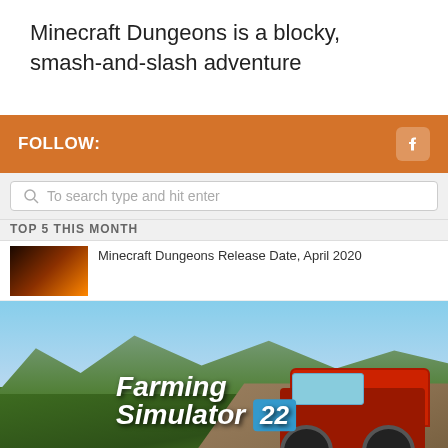Minecraft Dungeons is a blocky, smash-and-slash adventure
FOLLOW:
To search type and hit enter
TOP 5 THIS MONTH
Minecraft Dungeons Release Date, April 2020
[Figure (photo): Farming Simulator 22 advertisement banner showing tractor in vineyard landscape with text FS22MODHUB.COM]
Minecraft Dungeons: Everything we know so far